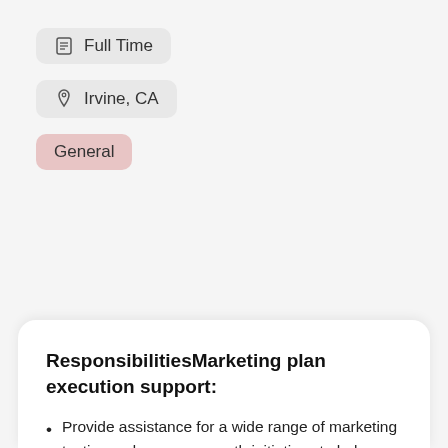Full Time
Irvine, CA
General
ResponsibilitiesMarketing plan execution support:
Provide assistance for a wide range of marketing tactics and revenue growth initiatives to help execute go-to-market plans such as: demand generation and nurturing campaigns, webinars, videos, sponsorships, special events, seminars, trade show exhibits,